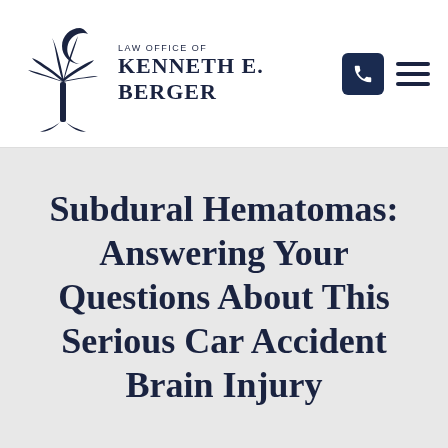[Figure (logo): Law Office of Kenneth E. Berger logo with South Carolina palmetto tree and crescent moon]
Subdural Hematomas: Answering Your Questions About This Serious Car Accident Brain Injury